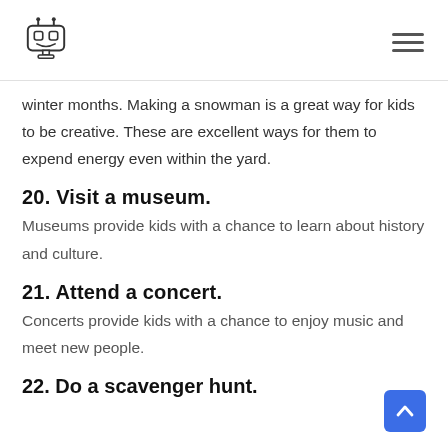[Robot logo] [Hamburger menu]
winter months. Making a snowman is a great way for kids to be creative. These are excellent ways for them to expend energy even within the yard.
20. Visit a museum.
Museums provide kids with a chance to learn about history and culture.
21. Attend a concert.
Concerts provide kids with a chance to enjoy music and meet new people.
22. Do a scavenger hunt.